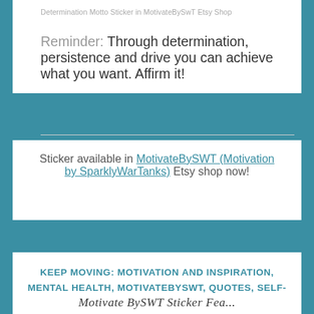Determination Motto Sticker in MotivateBySwT Etsy Shop
Reminder: Through determination, persistence and drive you can achieve what you want. Affirm it!
Sticker available in MotivateBySWT (Motivation by SparklyWarTanks) Etsy shop now!
KEEP MOVING: MOTIVATION AND INSPIRATION, MENTAL HEALTH, MOTIVATEBYSWT, QUOTES, SELF-CARE, SELF-TALK
Motivate BySWT Sticker Fea...